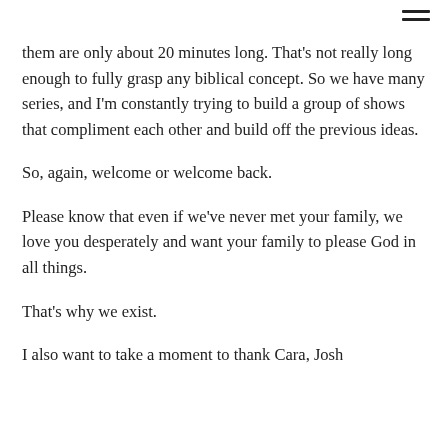them are only about 20 minutes long. That's not really long enough to fully grasp any biblical concept. So we have many series, and I'm constantly trying to build a group of shows that compliment each other and build off the previous ideas.
So, again, welcome or welcome back.
Please know that even if we've never met your family, we love you desperately and want your family to please God in all things.
That's why we exist.
I also want to take a moment to thank Cara, Josh